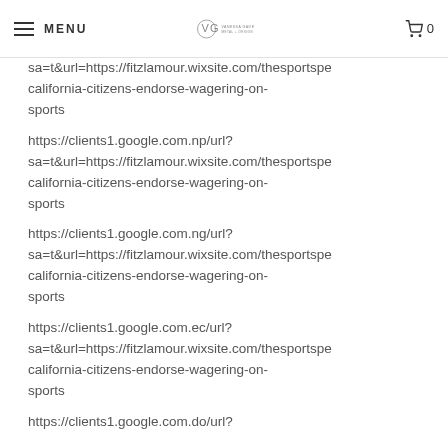MENU | VANESSA GADE METAL + DESIGN | 0
sa=t&url=https://fitzlamour.wixsite.com/thesportspe california-citizens-endorse-wagering-on-sports
https://clients1.google.com.np/url?sa=t&url=https://fitzlamour.wixsite.com/thesportspe california-citizens-endorse-wagering-on-sports
https://clients1.google.com.ng/url?sa=t&url=https://fitzlamour.wixsite.com/thesportspe california-citizens-endorse-wagering-on-sports
https://clients1.google.com.ec/url?sa=t&url=https://fitzlamour.wixsite.com/thesportspe california-citizens-endorse-wagering-on-sports
https://clients1.google.com.do/url?